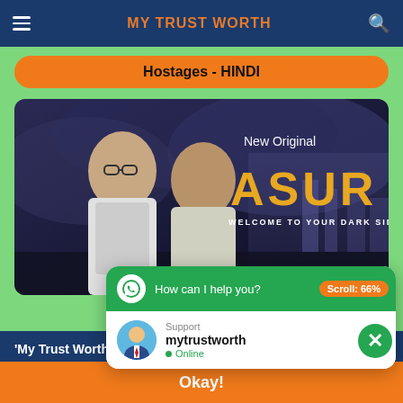MY TRUST WORTH
Hostages - HINDI
[Figure (screenshot): Movie promotional banner for 'ASUR - Welcome to Your Dark Side', showing two men against a dark cloudy background with the text 'New Original', 'ASUR', and 'WELCOME TO YOUR DARK SIDE']
'My Trust Worth' uses c... experience on our websi...
[Figure (screenshot): WhatsApp chat widget popup with header 'How can I help you?', 'Scroll: 66%' badge, and support agent 'mytrustworth' shown as Online]
Scroll: 66%
Support
mytrustworth
Online
Okay!